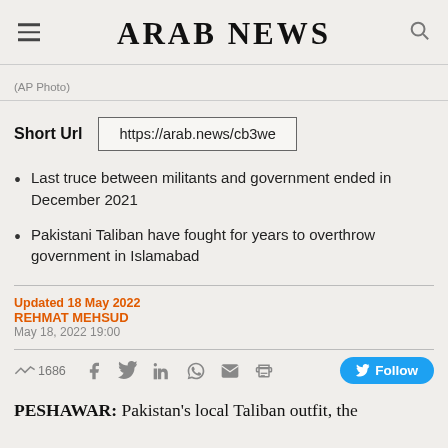ARAB NEWS
(AP Photo)
Short Url   https://arab.news/cb3we
Last truce between militants and government ended in December 2021
Pakistani Taliban have fought for years to overthrow government in Islamabad
Updated 18 May 2022
REHMAT MEHSUD
May 18, 2022 19:00
1686
PESHAWAR: Pakistan's local Taliban outfit, the